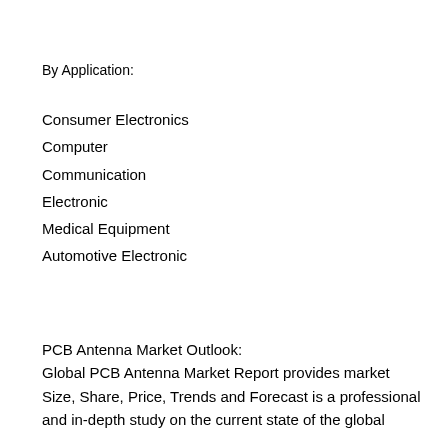By Application:
Consumer Electronics
Computer
Communication
Electronic
Medical Equipment
Automotive Electronic
PCB Antenna Market Outlook:
Global PCB Antenna Market Report provides market Size, Share, Price, Trends and Forecast is a professional and in-depth study on the current state of the global